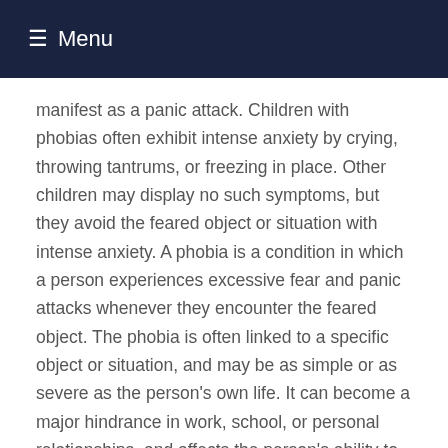☰ Menu
manifest as a panic attack. Children with phobias often exhibit intense anxiety by crying, throwing tantrums, or freezing in place. Other children may display no such symptoms, but they avoid the feared object or situation with intense anxiety. A phobia is a condition in which a person experiences excessive fear and panic attacks whenever they encounter the feared object. The phobia is often linked to a specific object or situation, and may be as simple or as severe as the person's own life. It can become a major hindrance in work, school, or personal relationships, and affects the person's ability to enjoy life. Unfortunately, an estimated 19 million Americans suffer from a phobia. It can develop into a generalized anxiety disorder Generalized anxiety disorder (GAD) is a severe condition that causes a person to be